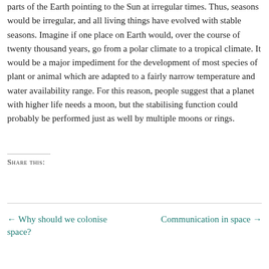parts of the Earth pointing to the Sun at irregular times. Thus, seasons would be irregular, and all living things have evolved with stable seasons. Imagine if one place on Earth would, over the course of twenty thousand years, go from a polar climate to a tropical climate. It would be a major impediment for the development of most species of plant or animal which are adapted to a fairly narrow temperature and water availability range. For this reason, people suggest that a planet with higher life needs a moon, but the stabilising function could probably be performed just as well by multiple moons or rings.
Share this:
← Why should we colonise space?
Communication in space →